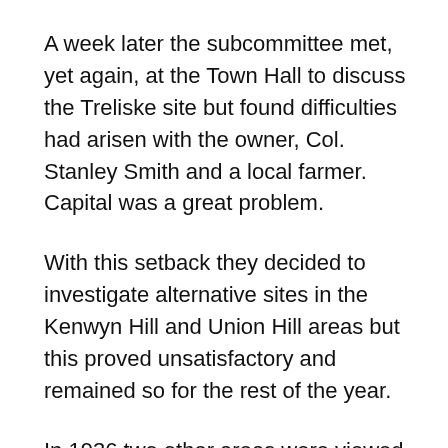A week later the subcommittee met, yet again, at the Town Hall to discuss the Treliske site but found difficulties had arisen with the owner, Col. Stanley Smith and a local farmer. Capital was a great problem.
With this setback they decided to investigate alternative sites in the Kenwyn Hill and Union Hill areas but this proved unsatisfactory and remained so for the rest of the year.
In 1936 two other areas were viewed. Penweather Moors and Idless both proved undesirable as a golf course.
In March 1936 interest was revived in the Trelisko